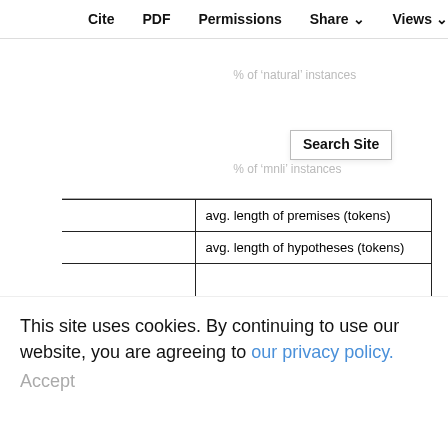Textual Entailment | # of instances | % of 'natural' instances | % of 'mnli' instances
|  | avg. length of premises (tokens) | avg. length of hypotheses (tokens) |
| --- | --- | --- |
|  | avg. length of premises (tokens) |  |
|  | avg. length of hypotheses (tokens) |  |
| Question Paraphrasing | # of instances |  |
|  | % of 'natural' instances |  |
|  | % of 'qqp' instances |  |
|  | avg. length of Q1 (tokens) |  |
|  | avg. length of Q2 (tokens) |  |
This site uses cookies. By continuing to use our website, you are agreeing to our privacy policy. Accept